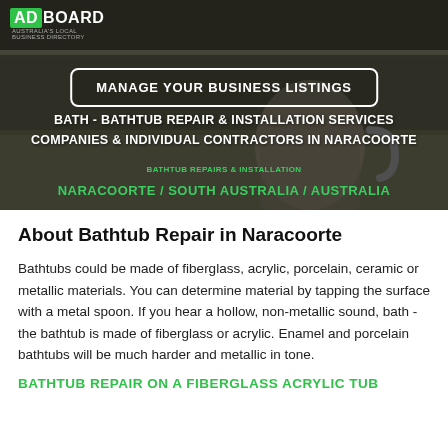[Figure (photo): Background hero image showing ancient stone architectural detail (column capital with metallic hook/ring), overlaid with dark semi-transparent layer]
ADBOARD
MANAGE YOUR BUSINESS LISTINGS
BATH - BATHTUB REPAIR & INSTALLATION SERVICES COMPANIES & INDIVIDUAL CONTRACTORS IN NARACOORTE
BATHTUB REPAIRS & INSTALLATION
NARACOORTE / SOUTH AUSTRALIA / AUSTRALIA
About Bathtub Repair in Naracoorte
Bathtubs could be made of fiberglass, acrylic, porcelain, ceramic or metallic materials. You can determine material by tapping the surface with a metal spoon. If you hear a hollow, non-metallic sound, bath - the bathtub is made of fiberglass or acrylic. Enamel and porcelain bathtubs will be much harder and metallic in tone.
BATHTUB REPAIR ON A FIBERGLASS ACRYLIC TUB